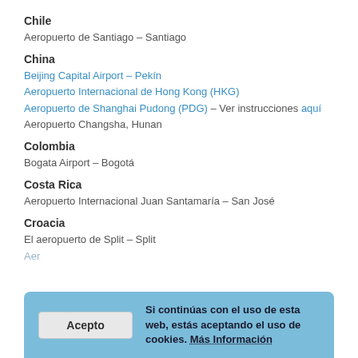Chile
Aeropuerto de Santiago – Santiago
China
Beijing Capital Airport – Pekín
Aeropuerto Internacional de Hong Kong (HKG)
Aeropuerto de Shanghai Pudong (PDG) – Ver instrucciones aquí
Aeropuerto Changsha, Hunan
Colombia
Bogata Airport – Bogotá
Costa Rica
Aeropuerto Internacional Juan Santamaría – San José
Croacia
El aeropuerto de Split – Split
Chipre
Aeropuerto de Larnaca (CPH)